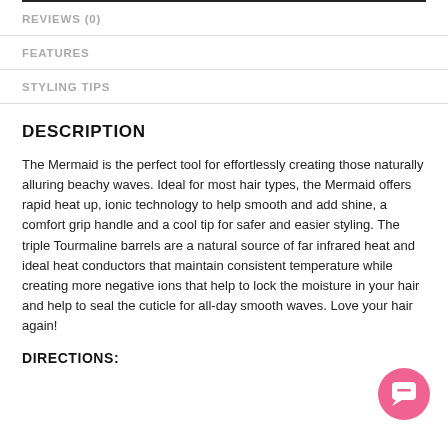REVIEWS (0)
FEATURES
STYLING TIPS
DESCRIPTION
The Mermaid is the perfect tool for effortlessly creating those naturally alluring beachy waves. Ideal for most hair types, the Mermaid offers rapid heat up, ionic technology to help smooth and add shine, a comfort grip handle and a cool tip for safer and easier styling. The triple Tourmaline barrels are a natural source of far infrared heat and ideal heat conductors that maintain consistent temperature while creating more negative ions that help to lock the moisture in your hair and help to seal the cuticle for all-day smooth waves. Love your hair again!
DIRECTIONS: